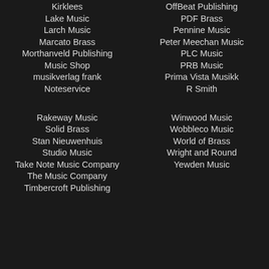Kirklees
Lake Music
Larch Music
Marcato Brass
Morthanveld Publishing
Music Shop
musikverlag frank
Noteservice
Rakeway Music
Solid Brass
Stan Nieuwenhuis
Studio Music
Take Note Music Company
The Music Company
Timbercroft Publishing
OffBeat Publishing
PDF Brass
Pennine Music
Peter Meechan Music
PLC Music
PRB Music
Prima Vista Musikk
R Smith
Winwood Music
Wobbleco Music
World of Brass
Wright and Round
Yewden Music